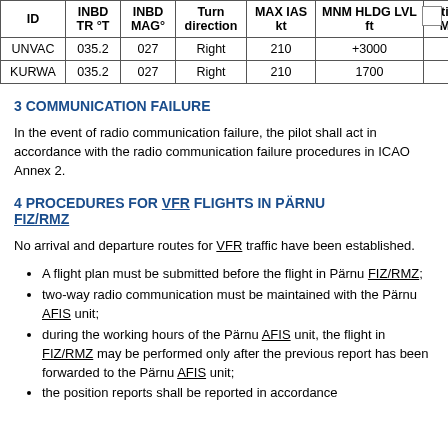| ID | INBD TR °T | INBD MAG° | Turn direction | MAX IAS kt | MNM HLDG LVL ft | Ti M |
| --- | --- | --- | --- | --- | --- | --- |
| UNVAC | 035.2 | 027 | Right | 210 | +3000 |  |
| KURWA | 035.2 | 027 | Right | 210 | 1700 |  |
3 COMMUNICATION FAILURE
In the event of radio communication failure, the pilot shall act in accordance with the radio communication failure procedures in ICAO Annex 2.
4 PROCEDURES FOR VFR FLIGHTS IN PÄRNU FIZ/RMZ
No arrival and departure routes for VFR traffic have been established.
A flight plan must be submitted before the flight in Pärnu FIZ/RMZ;
two-way radio communication must be maintained with the Pärnu AFIS unit;
during the working hours of the Pärnu AFIS unit, the flight in FIZ/RMZ may be performed only after the previous report has been forwarded to the Pärnu AFIS unit;
the position reports shall be reported in accordance